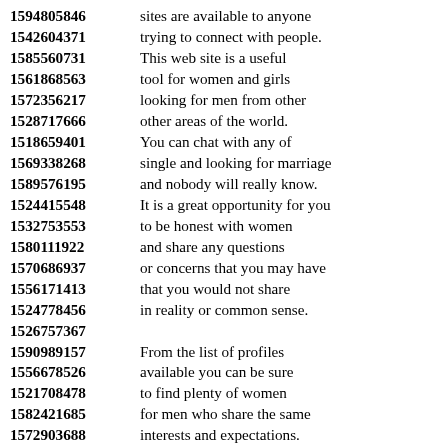1594805846 sites are available to anyone
1542604371 trying to connect with people.
1585560731 This web site is a useful
1561868563 tool for women and girls
1572356217 looking for men from other
1528717666 other areas of the world.
1518659401 You can chat with any of
1569338268 single and looking for marriage
1589576195 and nobody will really know.
1524415548 It is a great opportunity for you
1532753553 to be honest with women
1580111922 and share any questions
1570686937 or concerns that you may have
1556171413 that you would not share
1524778456 in reality or common sense.
1526757367
1590989157 From the list of profiles
1556678526 available you can be sure
1521708478 to find plenty of women
1582421685 for men who share the same
1572903688 interests and expectations.
1579418857 We can not wait to have you
1576684718 with us whether you are
1535495359 interested in single women
1545327450 seeking men for dating.